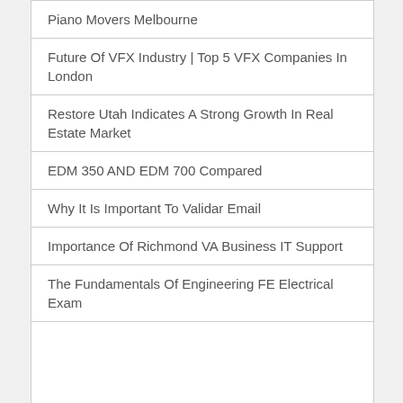Piano Movers Melbourne
Future Of VFX Industry | Top 5 VFX Companies In London
Restore Utah Indicates A Strong Growth In Real Estate Market
EDM 350 AND EDM 700 Compared
Why It Is Important To Validar Email
Importance Of Richmond VA Business IT Support
The Fundamentals Of Engineering FE Electrical Exam